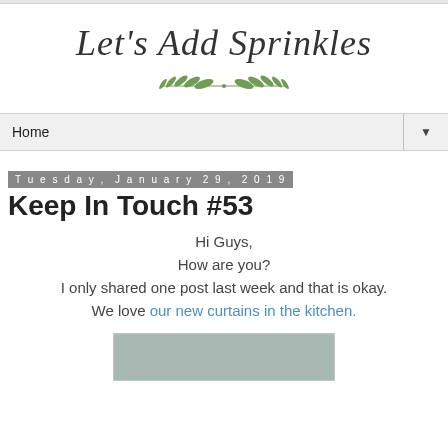Let's Add Sprinkles
[Figure (illustration): Decorative green leaf/laurel SVG divider beneath the blog title]
Home ▼
Tuesday, January 29, 2019
Keep In Touch #53
Hi Guys,
How are you?
I only shared one post last week and that is okay.
We love our new curtains in the kitchen.
[Figure (photo): Partial photo preview at the bottom of the page, showing a grey/neutral image likely of kitchen curtains]